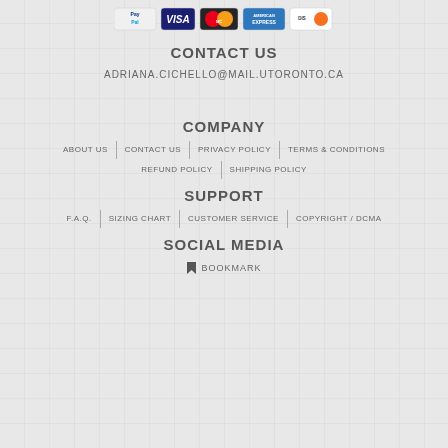[Figure (other): Payment method logos: PayPal, VISA, MasterCard, American Express, Discover]
CONTACT US
ADRIANA.CICHELLO@MAIL.UTORONTO.CA
COMPANY
ABOUT US
CONTACT US
PRIVACY POLICY
TERMS & CONDITIONS
REFUND POLICY
SHIPPING POLICY
SUPPORT
F.A.Q.
SIZING CHART
CUSTOMER SERVICE
COPYRIGHT / DCMA
SOCIAL MEDIA
BOOKMARK